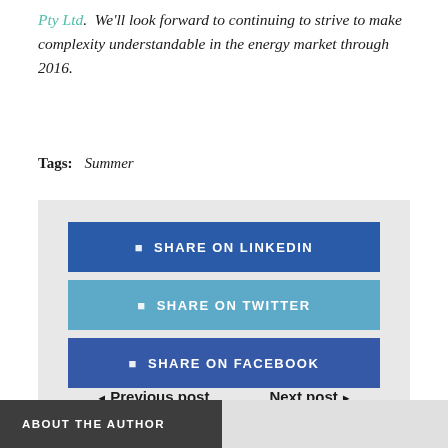Pty Ltd.  We'll look forward to continuing to strive to make complexity understandable in the energy market through 2016.
Tags:   Summer
[Figure (infographic): Three social share buttons: SHARE ON LINKEDIN (dark blue), SHARE ON TWITTER (medium blue), SHARE ON FACEBOOK (dark blue), inside a light grey box.]
◄ Previous post    Next post ►
ABOUT THE AUTHOR